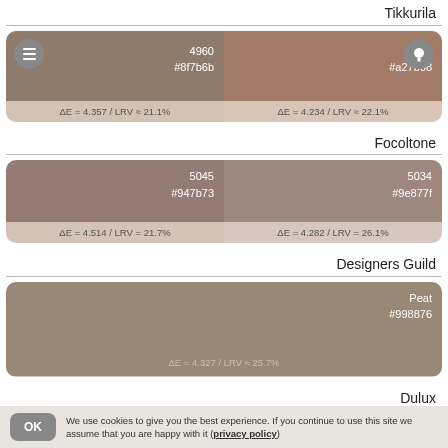Tikkurila
[Figure (other): Two color swatches for Tikkurila brand: left swatch 4960 #8f7b6b with hamburger icon, right swatch #a27b68 with bulb icon. Delta E = 4.357 / LRV ≈ 21.1% and ΔE = 4.234 / LRV ≈ 22.1%]
Focoltone
[Figure (other): Two color swatches for Focoltone brand: left 5045 #947b73 (ΔE=4.514/LRV=21.7%), right 5034 #9e877f (ΔE=4.282/LRV=26.1%)]
Designers Guild
[Figure (other): Single color swatch for Designers Guild: Peat #998876 (ΔE=4.327/LRV≈25.7%)]
Dulux
[Figure (other): Two color swatches for Dulux: left 80YR 30/187 #ad8b75, right Cappuccino Candy 2 #ad8972]
We use cookies to give you the best experience. If you continue to use this site we assume that you are happy with it (privacy policy)